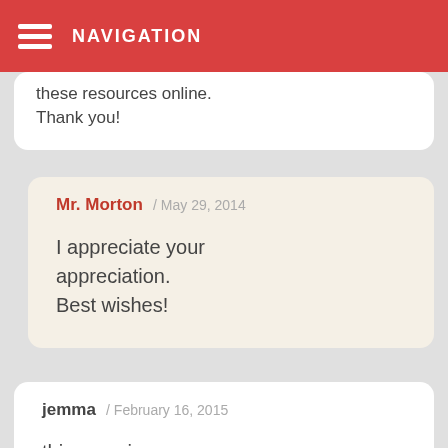NAVIGATION
these resources online.
Thank you!
Mr. Morton / May 29, 2014

I appreciate your appreciation.
Best wishes!
jemma / February 16, 2015

this amazing my daughter is starting to under i also homeschool her she is coping very well